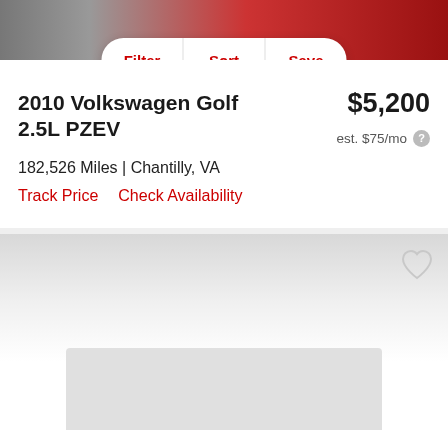[Figure (photo): Top portion of a red Volkswagen Golf car photo with gray background, partially visible]
Filter  Sort  Save
2010 Volkswagen Golf 2.5L PZEV
$5,200
est. $75/mo
182,526 Miles | Chantilly, VA
Track Price   Check Availability
[Figure (photo): Second car listing card with gradient gray background and heart/favorite icon in top right, and a gray placeholder rectangle at the bottom]